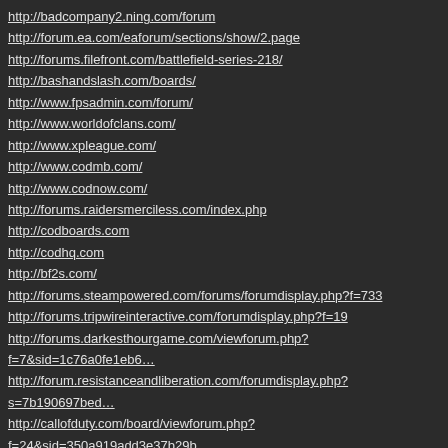http://badcompany2.ning.com/forum
http://forum.ea.com/eaforum/sections/show/2.page
http://forums.filefront.com/battlefield-series-218/
http://bashandslash.com/boards/
http://www.fpsadmin.com/forum/
http://www.worldofclans.com/
http://www.xpleague.com/
http://www.codmb.com/
http://www.codnow.com/
http://forums.raidersmerciless.com/index.php
http://codboards.com
http://codhq.com
http://bf2s.com/
http://forums.steampowered.com/forums/forumdisplay.php?f=733
http://forums.tripwireinteractive.com/forumdisplay.php?f=19
http://forums.darkesthourgame.com/viewforum.php?f=7&sid=1c76a0fe1eb6…
http://forum.resistanceandliberation.com/forumdisplay.php?s=7b190697bed…
http://callofduty.com/board/viewforum.php?f=24&sid=350a919add3e37b29b…
FH Youtube Channel:
http://www.youtube.com/user/forgottenhopemod
Games Radar Submit News:
tips@gamesradar.com
PC Gamer Mod Suggestions:
http://twitter.com/slahti…